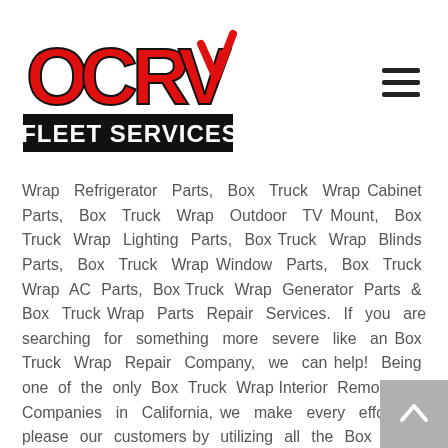OCRV FLEET SERVICES logo and navigation menu
Wrap Refrigerator Parts, Box Truck Wrap Cabinet Parts, Box Truck Wrap Outdoor TV Mount, Box Truck Wrap Lighting Parts, Box Truck Wrap Blinds Parts, Box Truck Wrap Window Parts, Box Truck Wrap AC Parts, Box Truck Wrap Generator Parts & Box Truck Wrap Parts Repair Services. If you are searching for something more severe like an Box Truck Wrap Repair Company, we can help! Being one of the only Box Truck Wrap Interior Remodeling Companies in California, we make every effort to please our customers by utilizing all the Box Truck Wrap Remodel demands and items picked. Any Box Truck